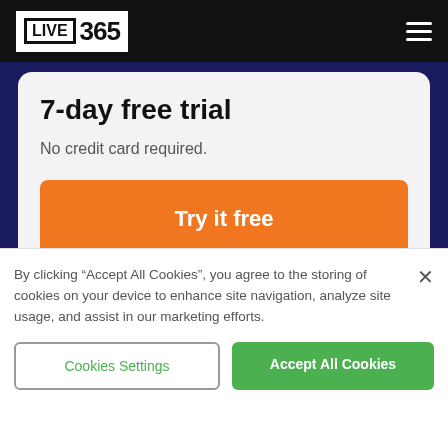LIVE 365
7-day free trial
No credit card required.
Try it free
By clicking “Accept All Cookies”, you agree to the storing of cookies on your device to enhance site navigation, analyze site usage, and assist in our marketing efforts.
Cookies Settings
Accept All Cookies